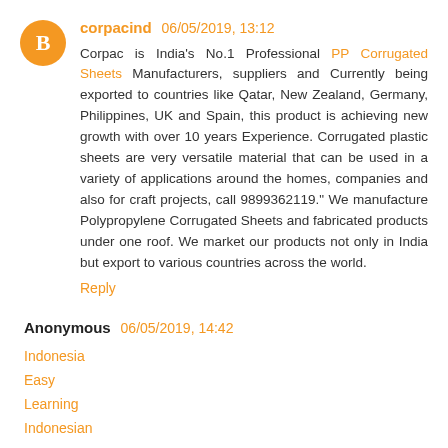corpacind 06/05/2019, 13:12
Corpac is India's No.1 Professional PP Corrugated Sheets Manufacturers, suppliers and Currently being exported to countries like Qatar, New Zealand, Germany, Philippines, UK and Spain, this product is achieving new growth with over 10 years Experience. Corrugated plastic sheets are very versatile material that can be used in a variety of applications around the homes, companies and also for craft projects, call 9899362119." We manufacture Polypropylene Corrugated Sheets and fabricated products under one roof. We market our products not only in India but export to various countries across the world.
Reply
Anonymous 06/05/2019, 14:42
Indonesia
Easy
Learning
Indonesian